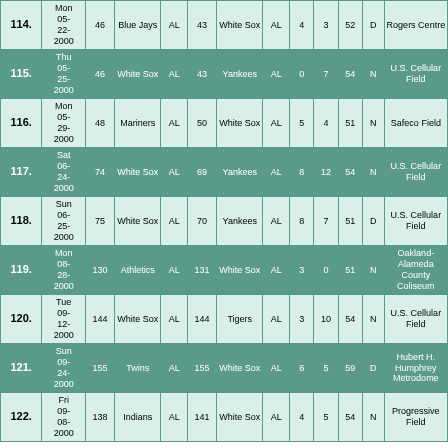| # | Date |  | Team1 | AL |  | Team2 | AL |  |  |  | D/N | Venue |
| --- | --- | --- | --- | --- | --- | --- | --- | --- | --- | --- | --- | --- |
| 114. | Mon 05-22-2000 | 46 | Blue Jays | AL | 43 | White Sox | AL | 4 | 3 | 52 | D | Rogers Centre |
| 115. | Thu 05-25-2000 | 46 | White Sox | AL | 43 | Yankees | AL | 0 | 7 | 54 | N | U.S. Cellular Field |
| 116. | Mon 05-29-2000 | 48 | Mariners | AL | 50 | White Sox | AL | 5 | 4 | 51 | N | Safeco Field |
| 117. | Sat 06-24-2000 | 74 | White Sox | AL | 69 | Yankees | AL | 8 | 12 | 54 | N | U.S. Cellular Field |
| 118. | Sun 06-25-2000 | 75 | White Sox | AL | 70 | Yankees | AL | 8 | 7 | 51 | D | U.S. Cellular Field |
| 119. | Mon 08-28-2000 | 130 | Athletics | AL | 131 | White Sox | AL | 3 | 0 | 51 | N | Oakland-Alameda County Coliseum |
| 120. | Tue 09-12-2000 | 144 | White Sox | AL | 144 | Tigers | AL | 3 | 10 | 54 | N | U.S. Cellular Field |
| 121. | Sun 09-24-2000 | 155 | Twins | AL | 155 | White Sox | AL | 6 | 5 | 59 | D | Hubert H. Humphrey Metrodome |
| 122. | Fri 09-08-2000 | 138 | Indians | AL | 141 | White Sox | AL | 4 | 5 | 54 | N | Progressive Field |